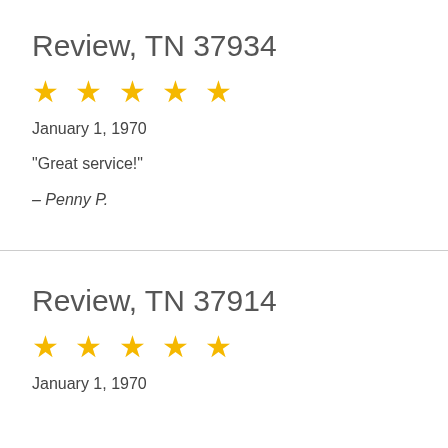Review, TN 37934
★★★★★
January 1, 1970
“Great service!”
– Penny P.
Review, TN 37914
★★★★★
January 1, 1970